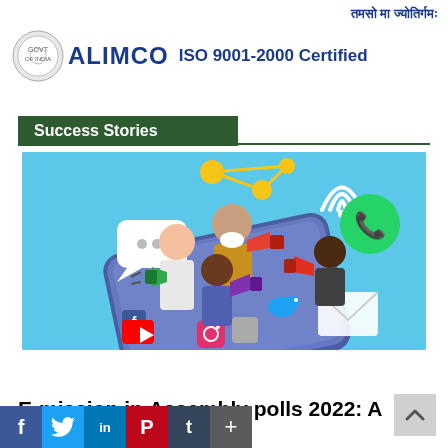[Figure (logo): ALIMCO logo with circular emblem on left, text 'ALIMCO ISO 9001-2000 Certified' in blue, Hindi text top right]
Success Stories
[Figure (illustration): Social media campaign illustration: people holding megaphones emerging from a smartphone, surrounded by social media icons (WhatsApp, Facebook, Twitter, YouTube, Instagram, email, chat bubble, WiFi symbol) on a sky-blue background]
E-mission in Assembly polls 2022: A campaign with a byte